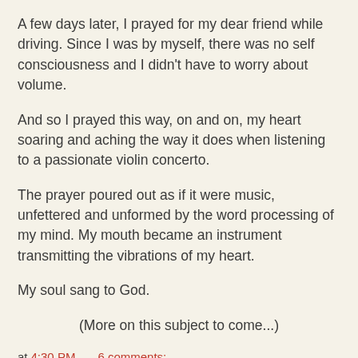A few days later, I prayed for my dear friend while driving. Since I was by myself, there was no self consciousness and I didn't have to worry about volume.
And so I prayed this way, on and on, my heart soaring and aching the way it does when listening to a passionate violin concerto.
The prayer poured out as if it were music, unfettered and unformed by the word processing of my mind. My mouth became an instrument transmitting the vibrations of my heart.
My soul sang to God.
(More on this subject to come...)
at 4:30 PM    6 comments:
Share